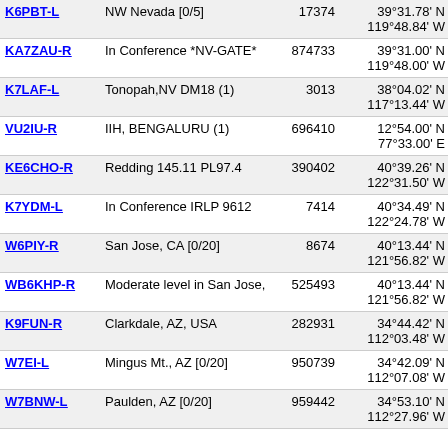| Callsign | Description | Node | Coordinates | Grid |  |
| --- | --- | --- | --- | --- | --- |
| K6PBT-L | NW Nevada [0/5] | 17374 | 39°31.78' N
119°48.84' W | DM09cm | 5 |
| KA7ZAU-R | In Conference *NV-GATE* | 874733 | 39°31.00' N
119°48.00' W | DM09cm | 5 |
| K7LAF-L | Tonopah,NV DM18 (1) | 3013 | 38°04.02' N
117°13.44' W | DM18jb | 5 |
| VU2IU-R | IIH, BENGALURU (1) | 696410 | 12°54.00' N
77°33.00' E | MK82sv | 5 |
| KE6CHO-R | Redding 145.11 PL97.4 | 390402 | 40°39.26' N
122°31.50' W | CN80rp | 5 |
| K7YDM-L | In Conference IRLP 9612 | 7414 | 40°34.49' N
122°24.78' W | CN80tn | 5 |
| W6PIY-R | San Jose, CA [0/20] | 8674 | 40°13.44' N
121°56.82' W | CN90af | 5 |
| WB6KHP-R | Moderate level in San Jose, | 525493 | 40°13.44' N
121°56.82' W | CN90af | 5 |
| K9FUN-R | Clarkdale, AZ, USA | 282931 | 34°44.42' N
112°03.48' W | DM34xr | 5 |
| W7EI-L | Mingus Mt., AZ [0/20] | 950739 | 34°42.09' N
112°07.08' W | DM34wq | 5 |
| W7BNW-L | Paulden, AZ [0/20] | 959442 | 34°53.10' N
112°27.96' W | DM34sv | 5 |